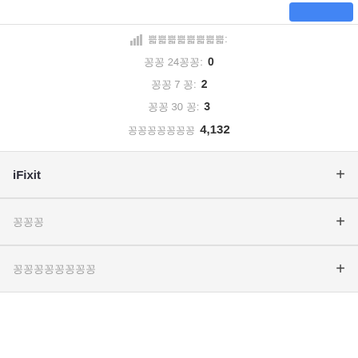쁣쁣쁣쁣쁣쁣쁣쁣:
꽁꽁 24꽁꽁: 0
꽁꽁 7 꽁: 2
꽁꽁 30 꽁: 3
꽁꽁꽁꽁꽁꽁꽁 4,132
iFixit
꽁꽁꽁
꽁꽁꽁꽁꽁꽁꽁꽁